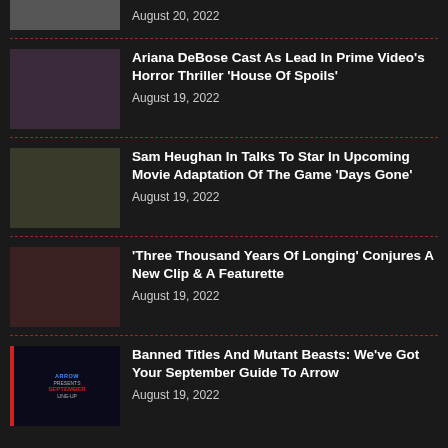August 20, 2022
Ariana DeBose Cast As Lead In Prime Video's Horror Thriller 'House Of Spoils'
August 19, 2022
Sam Heughan In Talks To Star In Upcoming Movie Adaptation Of The Game 'Days Gone'
August 19, 2022
'Three Thousand Years Of Longing' Conjures A New Clip & A Featurette
August 19, 2022
Banned Titles And Mutant Beasts: We've Got Your September Guide To Arrow
August 19, 2022